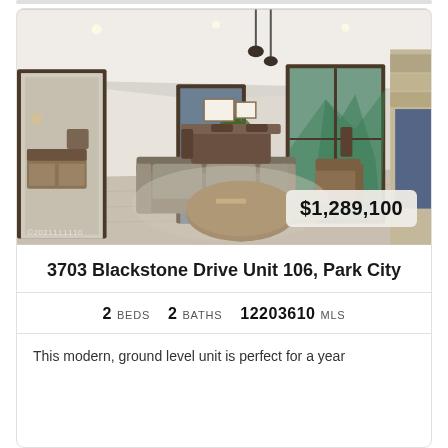[Figure (photo): Interior photo of a modern living room with light hardwood floors, gray sofa, round wood coffee table, dining area visible, large windows with mountain views, stone fireplace, and pendant lighting. Price badge shows $1,289,100.]
3703 Blackstone Drive Unit 106, Park City
2 BEDS   2 BATHS   12203610 MLS
This modern, ground level unit is perfect for a year